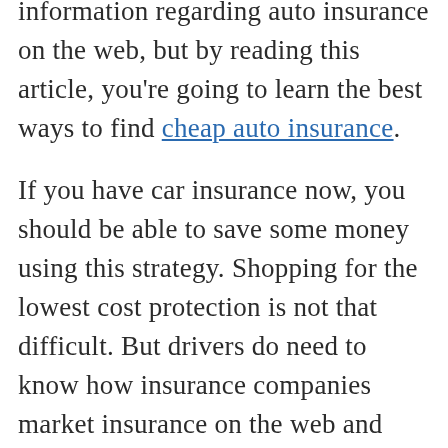information regarding auto insurance on the web, but by reading this article, you're going to learn the best ways to find cheap auto insurance.
If you have car insurance now, you should be able to save some money using this strategy. Shopping for the lowest cost protection is not that difficult. But drivers do need to know how insurance companies market insurance on the web and apply this information to your search.
Lower rate quotes by earning discounts